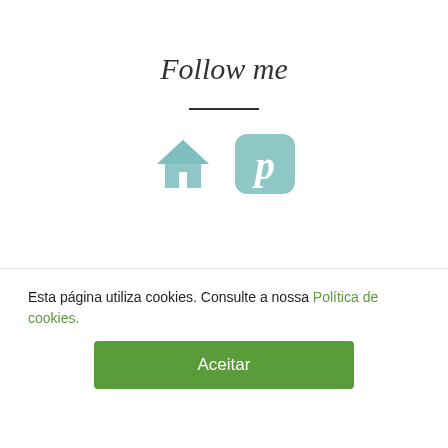Follow me
[Figure (illustration): Two social media icons: a home icon and a Pinterest icon, both in muted teal/blue color]
Subscrever por e-mail
[Figure (illustration): Email envelope icon in light gray inside a subscription box]
Esta página utiliza cookies. Consulte a nossa Política de cookies.
Aceitar